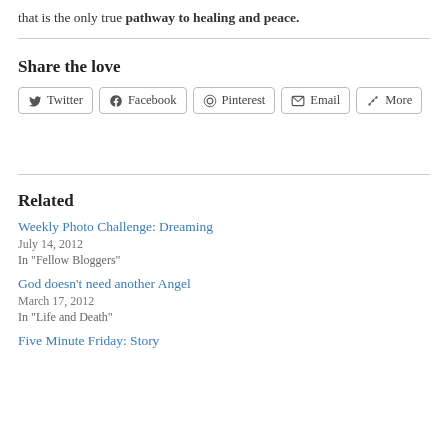that is the only true pathway to healing and peace.
Share the love
[Figure (screenshot): Social share buttons: Twitter, Facebook, Pinterest, Email, More]
Related
Weekly Photo Challenge: Dreaming
July 14, 2012
In "Fellow Bloggers"
God doesn’t need another Angel
March 17, 2012
In "Life and Death"
Five Minute Friday: Story